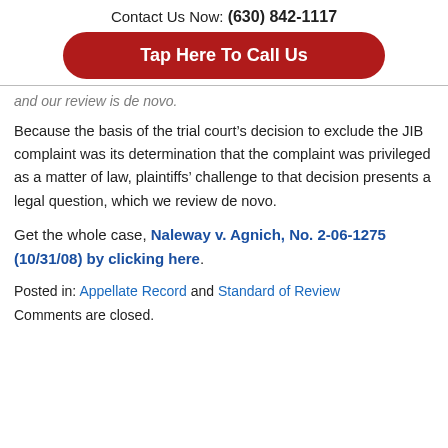Contact Us Now: (630) 842-1117
Tap Here To Call Us
and our review is de novo.
Because the basis of the trial court’s decision to exclude the JIB complaint was its determination that the complaint was privileged as a matter of law, plaintiffs’ challenge to that decision presents a legal question, which we review de novo.
Get the whole case, Naleway v. Agnich, No. 2-06-1275 (10/31/08) by clicking here.
Posted in: Appellate Record and Standard of Review
Comments are closed.